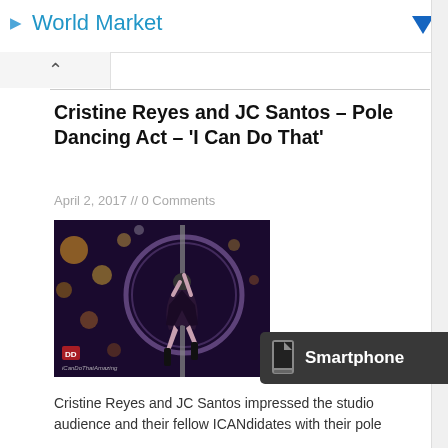World Market
Cristine Reyes and JC Santos – Pole Dancing Act – 'I Can Do That'
April 2, 2017 // 0 Comments
[Figure (photo): A performer doing a pole dancing act on stage with bokeh lights in the background, dark purple/violet lighting. Watermark text: iCanDoThatAmazing]
Cristine Reyes and JC Santos impressed the studio audience and their fellow ICANdidates with their pole